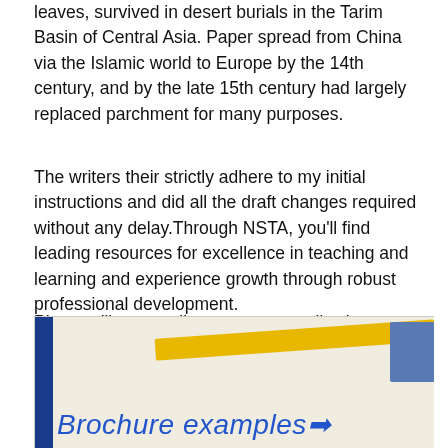leaves, survived in desert burials in the Tarim Basin of Central Asia. Paper spread from China via the Islamic world to Europe by the 14th century, and by the late 15th century had largely replaced parchment for many purposes.
The writers their strictly adhere to my initial instructions and did all the draft changes required without any delay.Through NSTA, you'll find leading resources for excellence in teaching and learning and experience growth through robust professional development.
Plus you'll meet colleagues across all science disciplines, all grade bands and teaching stages, from the newest teacher to the veteran administrator, who share a passion for science education.
[Figure (photo): Photo of a desk surface with a yellow pencil/ruler, a blue book or binder on the right edge, a blue left binding edge, and handwritten text reading 'Brochure examples' with an arrow.]